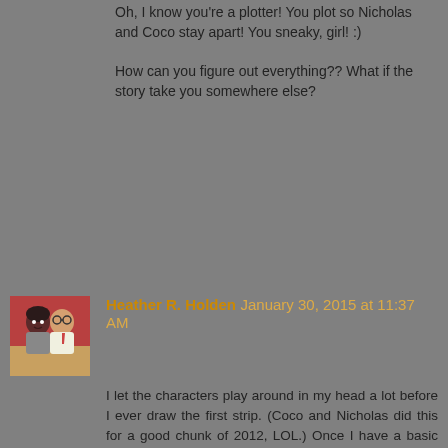Oh, I know you're a plotter! You plot so Nicholas and Coco stay apart! You sneaky, girl! :)
How can you figure out everything?? What if the story take you somewhere else?
[Figure (photo): Avatar image of Heather R. Holden, showing two illustrated characters]
Heather R. Holden  January 30, 2015 at 11:37 AM
I let the characters play around in my head a lot before I ever draw the first strip. (Coco and Nicholas did this for a good chunk of 2012, LOL.) Once I have a basic idea of the plot and characters, I start drawing random art so I can get to know them better. This is when my characters can throw curveballs my way that may ultimately become canon and shape the story.
Like, my first pic of Nicholas and Coco? Nicholas decided to be a redhead while I colored it, instead of raven-haired like I had planned. This is also when I discovered he loves to cook, since